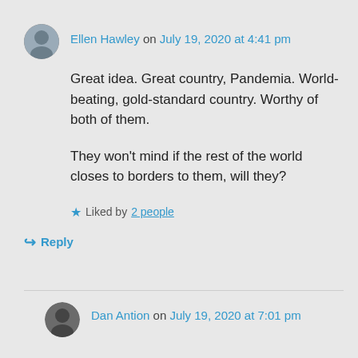Ellen Hawley on July 19, 2020 at 4:41 pm
Great idea. Great country, Pandemia. World-beating, gold-standard country. Worthy of both of them.

They won't mind if the rest of the world closes to borders to them, will they?
Liked by 2 people
↳ Reply
Dan Antion on July 19, 2020 at 7:01 pm
No. They'll brag that it will save